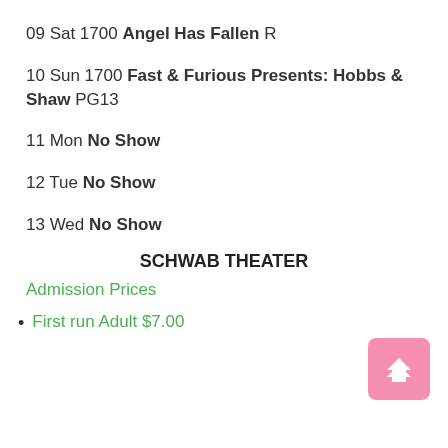09 Sat 1700 Angel Has Fallen R
10 Sun 1700 Fast & Furious Presents: Hobbs & Shaw PG13
11 Mon No Show
12 Tue No Show
13 Wed No Show
SCHWAB THEATER
Admission Prices
First run Adult $7.00